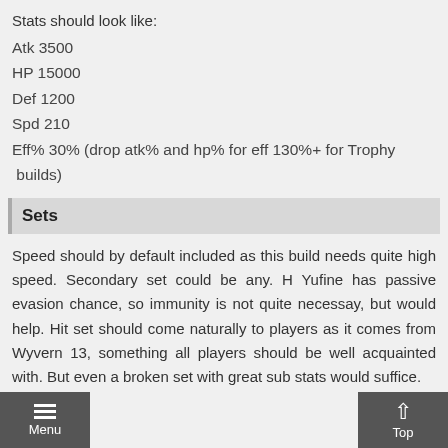Stats should look like:
Atk 3500
HP 15000
Def 1200
Spd 210
Eff% 30% (drop atk% and hp% for eff 130%+ for Trophy builds)
Sets
Speed should by default included as this build needs quite high speed. Secondary set could be any. H Yufine has passive evasion chance, so immunity is not quite necessay, but would help. Hit set should come naturally to players as it comes from Wyvern 13, something all players should be well acquainted with. But even a broken set with great sub stats would suffice.
Menu | Top